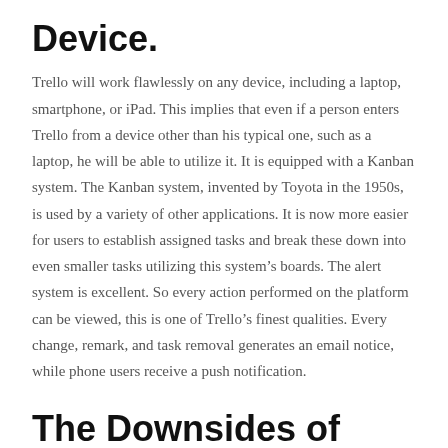Device.
Trello will work flawlessly on any device, including a laptop, smartphone, or iPad. This implies that even if a person enters Trello from a device other than his typical one, such as a laptop, he will be able to utilize it. It is equipped with a Kanban system. The Kanban system, invented by Toyota in the 1950s, is used by a variety of other applications. It is now more easier for users to establish assigned tasks and break these down into even smaller tasks utilizing this system’s boards. The alert system is excellent. So every action performed on the platform can be viewed, this is one of Trello’s finest qualities. Every change, remark, and task removal generates an email notice, while phone users receive a push notification.
The Downsides of using